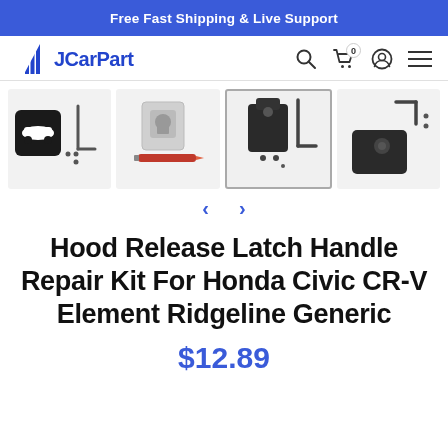Free Fast Shipping & Live Support
[Figure (logo): JCarPart logo with diagonal stripe pattern and navigation icons (search, cart, user, menu)]
[Figure (photo): Four product thumbnail images of Hood Release Latch Handle Repair Kit showing the black plastic latch piece, L-shaped Allen wrench, screws, and installation components. Navigation arrows below images.]
Hood Release Latch Handle Repair Kit For Honda Civic CR-V Element Ridgeline Generic
$12.89